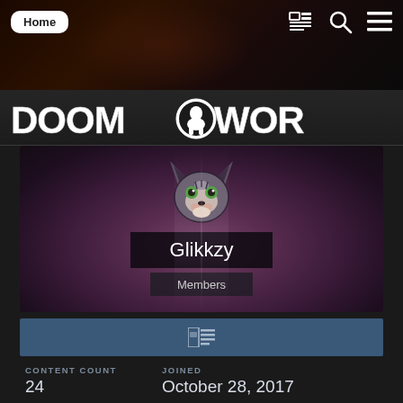Home
[Figure (logo): Doomworld logo with stylized text and demon figure]
[Figure (photo): User avatar: animated wolf/furry character with green eyes]
Glikkzy
Members
CONTENT COUNT
24
JOINED
October 28, 2017